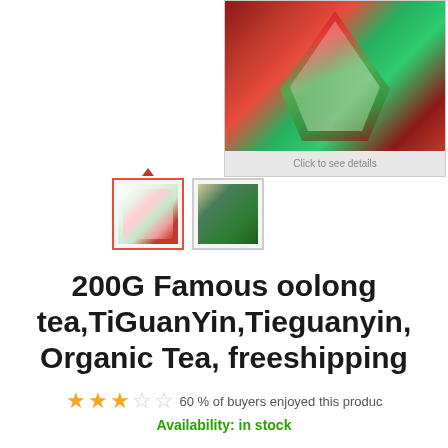[Figure (photo): Main product image of tea packages, pyramid-shaped colorful packaging with floral design, shown against white background with 'Click to see details' caption bar below]
[Figure (photo): Two thumbnail images: first selected thumbnail shows colorful floral tea package with red border, second thumbnail shows loose green tea leaves]
200G Famous oolong tea,TiGuanYin,Tieguanyin,Organic Tea, freeshipping
★★★☆☆ 60 % of buyers enjoyed this product
Availability: in stock